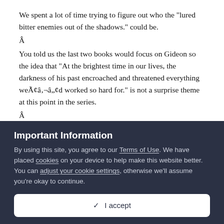We spent a lot of time trying to figure out who the "lured bitter enemies out of the shadows." could be.
Â
You told us the last two books would focus on Gideon so the idea that "At the brightest time in our lives, the darkness of his past encroached and threatened everything weÃ¢â‚¬â„¢d worked so hard for." is not a surprise theme at this point in the series.
Â
I just hope "The vows we'd exchanged should have bound us tighter than blood and flesh." are at the wedding everyone will know about
Important Information
By using this site, you agree to our Terms of Use. We have placed cookies on your device to help make this website better. You can adjust your cookie settings, otherwise we'll assume you're okay to continue.
✓  I accept